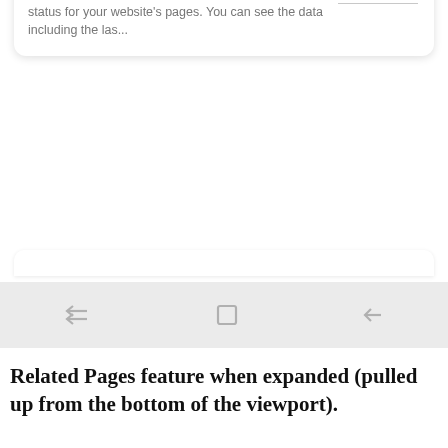[Figure (screenshot): Partially visible card showing 'Inspection Tool in Googl...' title with date 'Jul 26, 2018 · URL Inspection tool checks for the status for your website's pages. You can see the data including the las...' and a thumbnail on the right with placeholder lines.]
[Figure (screenshot): Android navigation bar with three icons: back (two horizontal arrows), home (square), and back arrow pointing left, on a light gray background.]
Related Pages feature when expanded (pulled up from the bottom of the viewport).
[Figure (screenshot): Browser address bar screenshot showing: X close button, lock icon, 'm searchengineland.com' URL, a highlighted (yellow border) Google Assistant/related pages icon button, bookmark icon, and three-dot menu. Below is the Search Engine Land header with 'SUBSCRIBE' button in blue/dark bar.]